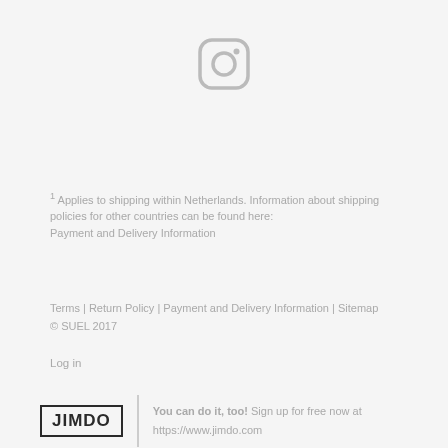[Figure (logo): Instagram icon — rounded square outline with circle and dot, in light gray]
1 Applies to shipping within Netherlands. Information about shipping policies for other countries can be found here: Payment and Delivery Information
Terms | Return Policy | Payment and Delivery Information | Sitemap
© SUEL 2017
Log in
[Figure (logo): Jimdo logo — bold text JIMDO inside a rectangular border, followed by a vertical divider, with text: You can do it, too! Sign up for free now at https://www.jimdo.com]